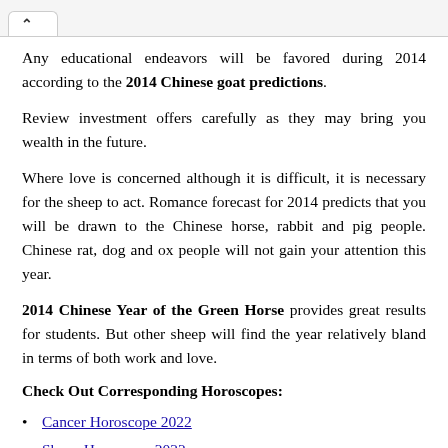^
Any educational endeavors will be favored during 2014 according to the 2014 Chinese goat predictions.
Review investment offers carefully as they may bring you wealth in the future.
Where love is concerned although it is difficult, it is necessary for the sheep to act. Romance forecast for 2014 predicts that you will be drawn to the Chinese horse, rabbit and pig people. Chinese rat, dog and ox people will not gain your attention this year.
2014 Chinese Year of the Green Horse provides great results for students. But other sheep will find the year relatively bland in terms of both work and love.
Check Out Corresponding Horoscopes:
Cancer Horoscope 2022
Sheep Horoscope 2022